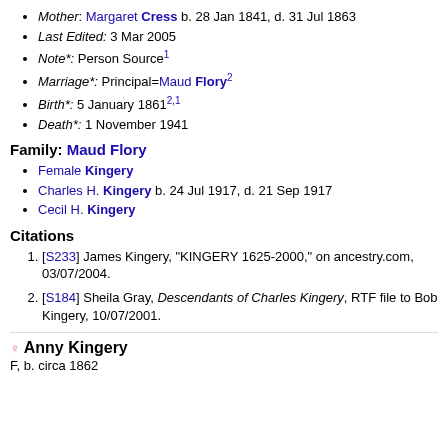Mother: Margaret Cress b. 28 Jan 1841, d. 31 Jul 1863
Last Edited: 3 Mar 2005
Note*: Person Source1
Marriage*: Principal=Maud Flory2
Birth*: 5 January 18612,1
Death*: 1 November 1941
Family: Maud Flory
Female Kingery
Charles H. Kingery b. 24 Jul 1917, d. 21 Sep 1917
Cecil H. Kingery
Citations
[S233] James Kingery, "KINGERY 1625-2000," on ancestry.com, 03/07/2004.
[S184] Sheila Gray, Descendants of Charles Kingery, RTF file to Bob Kingery, 10/07/2001.
Anny Kingery
F, b. circa 1862